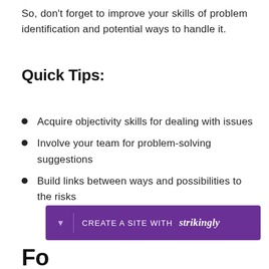So, don't forget to improve your skills of problem identification and potential ways to handle it.
Quick Tips:
Acquire objectivity skills for dealing with issues
Involve your team for problem-solving suggestions
Build links between ways and possibilities to the risks
[Figure (other): Purple banner with 'CREATE A SITE WITH strikingly' text and a downward arrow icon]
Fo...